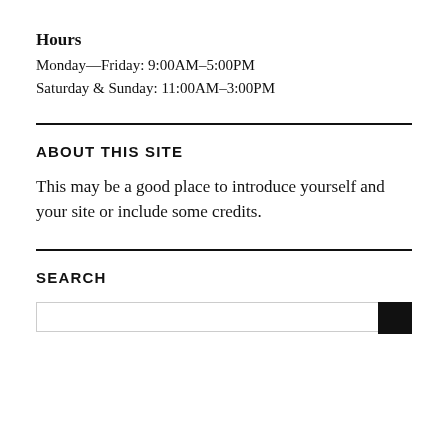Hours
Monday—Friday: 9:00AM–5:00PM
Saturday & Sunday: 11:00AM–3:00PM
ABOUT THIS SITE
This may be a good place to introduce yourself and your site or include some credits.
SEARCH